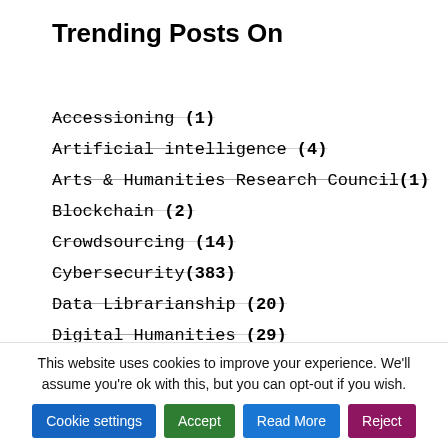Trending Posts On
Accessioning (1)
Artificial intelligence (4)
Arts & Humanities Research Council (1)
Blockchain (2)
Crowdsourcing (14)
Cybersecurity (383)
Data Librarianship (20)
Digital Humanities (29)
digital preservation (20)
General (372)
Library Insights (86)
This website uses cookies to improve your experience. We'll assume you're ok with this, but you can opt-out if you wish.
Cookie settings | Accept | Read More | Reject